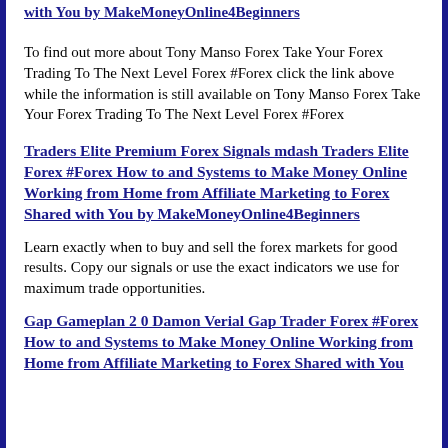with You by MakeMoney Online4Beginners
To find out more about Tony Manso Forex Take Your Forex Trading To The Next Level Forex #Forex click the link above while the information is still available on Tony Manso Forex Take Your Forex Trading To The Next Level Forex #Forex
Traders Elite Premium Forex Signals mdash Traders Elite Forex #Forex How to and Systems to Make Money Online Working from Home from Affiliate Marketing to Forex Shared with You by MakeMoney Online4Beginners
Learn exactly when to buy and sell the forex markets for good results. Copy our signals or use the exact indicators we use for maximum trade opportunities.
Gap Gameplan 2 0 Damon Verial Gap Trader Forex #Forex How to and Systems to Make Money Online Working from Home from Affiliate Marketing to Forex Shared with You